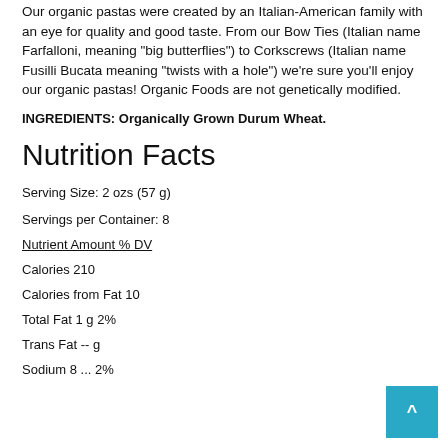Our organic pastas were created by an Italian-American family with an eye for quality and good taste. From our Bow Ties (Italian name Farfalloni, meaning "big butterflies") to Corkscrews (Italian name Fusilli Bucata meaning "twists with a hole") we're sure you'll enjoy our organic pastas! Organic Foods are not genetically modified.
INGREDIENTS: Organically Grown Durum Wheat.
Nutrition Facts
Serving Size: 2 ozs (57 g)
Servings per Container: 8
Nutrient Amount % DV
Calories 210
Calories from Fat 10
Total Fat 1 g 2%
Trans Fat -- g
Sodium 8 ... 2%